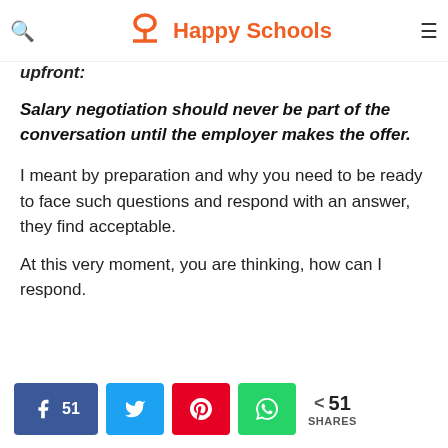Happy Schools
upfront:
Salary negotiation should never be part of the conversation until the employer makes the offer.
I meant by preparation and why you need to be ready to face such questions and respond with an answer, they find acceptable.
At this very moment, you are thinking, how can I respond.
51 SHARES